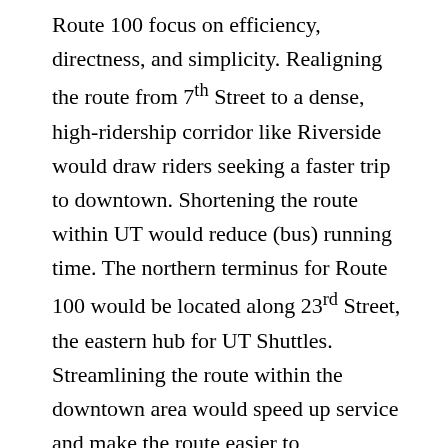Route 100 focus on efficiency, directness, and simplicity. Realigning the route from 7th Street to a dense, high-ridership corridor like Riverside would draw riders seeking a faster trip to downtown. Shortening the route within UT would reduce (bus) running time. The northern terminus for Route 100 would be located along 23rd Street, the eastern hub for UT Shuttles. Streamlining the route within the downtown area would speed up service and make the route easier to understand. Stops would be located within ¼ mile of most hotels and attractions (Convention Center, Capitol, museums, etc.). Connectivity with MetroRail would also be improved by stopping at Downtown Station. In addition to the routing and stop changes, the biggest improvement for